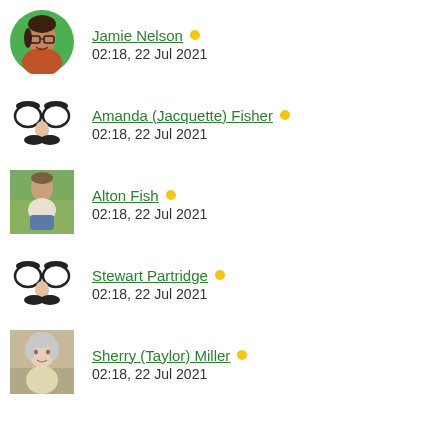Jamie Nelson • 02:18, 22 Jul 2021
Amanda (Jacquette) Fisher • 02:18, 22 Jul 2021
Alton Fish • 02:18, 22 Jul 2021
Stewart Partridge • 02:18, 22 Jul 2021
Sherry (Taylor) Miller • 02:18, 22 Jul 2021